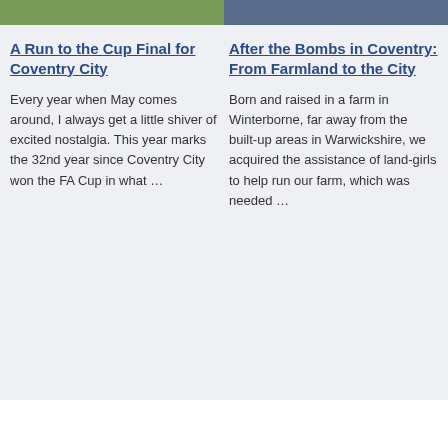[Figure (photo): Two cropped photos side by side at the top: left shows outdoor greenery/garden scene, right shows a darker aerial or landscape scene.]
A Run to the Cup Final for Coventry City
Every year when May comes around, I always get a little shiver of excited nostalgia. This year marks the 32nd year since Coventry City won the FA Cup in what …
After the Bombs in Coventry: From Farmland to the City
Born and raised in a farm in Winterborne, far away from the built-up areas in Warwickshire, we acquired the assistance of land-girls to help run our farm, which was needed …